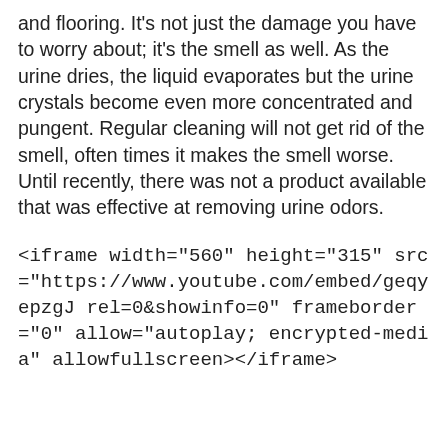and flooring. It's not just the damage you have to worry about; it's the smell as well. As the urine dries, the liquid evaporates but the urine crystals become even more concentrated and pungent. Regular cleaning will not get rid of the smell, often times it makes the smell worse. Until recently, there was not a product available that was effective at removing urine odors.
<iframe width="560" height="315" src="https://www.youtube.com/embed/geqyepzgJ rel=0&showinfo=0" frameborder="0" allow="autoplay; encrypted-media" allowfullscreen></iframe>